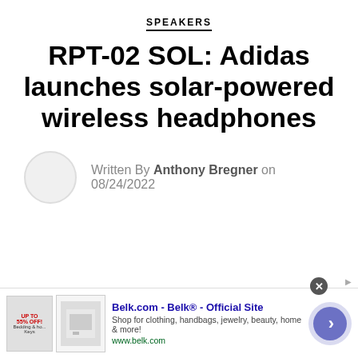SPEAKERS
RPT-02 SOL: Adidas launches solar-powered wireless headphones
Written By Anthony Bregner on 08/24/2022
[Figure (infographic): Advertisement banner for Belk.com showing product thumbnails, ad title 'Belk.com - Belk® - Official Site', description 'Shop for clothing, handbags, jewelry, beauty, home & more!', URL www.belk.com, close button, and navigation arrow.]